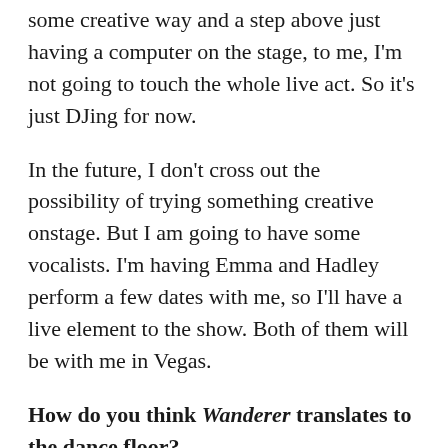some creative way and a step above just having a computer on the stage, to me, I'm not going to touch the whole live act. So it's just DJing for now.
In the future, I don't cross out the possibility of trying something creative onstage. But I am going to have some vocalists. I'm having Emma and Hadley perform a few dates with me, so I'll have a live element to the show. Both of them will be with me in Vegas.
How do you think Wanderer translates to the dance floor?